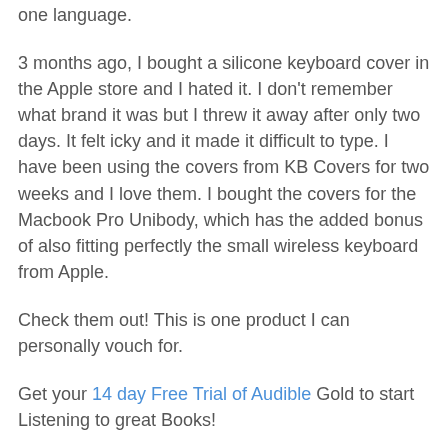one language.
3 months ago, I bought a silicone keyboard cover in the Apple store and I hated it.  I don't remember what brand it was but I threw it away after only two days.  It felt icky and it made it difficult to type.  I have been using the covers from KB Covers for two weeks and I love them.  I bought the covers for the Macbook Pro Unibody, which has the added bonus of also fitting perfectly the small wireless keyboard from Apple.
Check them out!  This is one product I can personally vouch for.
Get your 14 day Free Trial of Audible Gold to start Listening to great Books!
GoDaddy services saves you money! New Customers Save 25% Promo Code CES25.